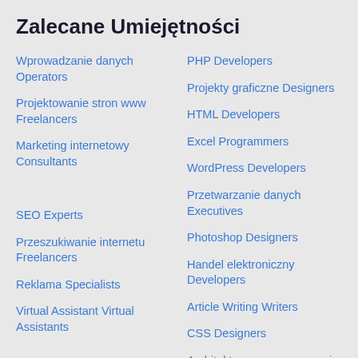Zalecane Umiejętności
Wprowadzanie danych Operators
Projektowanie stron www Freelancers
Marketing internetowy Consultants
SEO Experts
Przeszukiwanie internetu Freelancers
Reklama Specialists
Virtual Assistant Virtual Assistants
Copywriting Freelancers
PHP Developers
Projekty graficzne Designers
HTML Developers
Excel Programmers
WordPress Developers
Przetwarzanie danych Executives
Photoshop Designers
Handel elektroniczny Developers
Article Writing Writers
CSS Designers
Architektura oprogramowania Designers
Badania Analysts